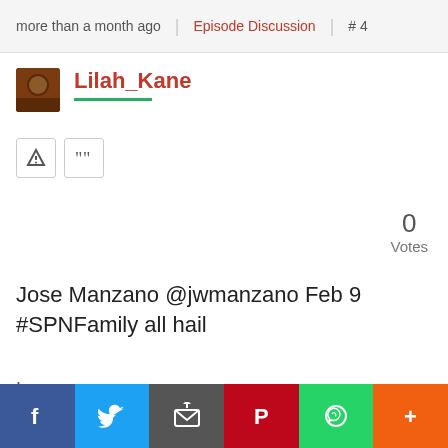more than a month ago | Episode Discussion | # 4
Lilah_Kane
Jose Manzano @jwmanzano Feb 9
#SPNFamily all hail
.
Attachments (1)
[Figure (photo): Thumbnail image labeled DVk358 ...]
f | Twitter | email | Pinterest | WhatsApp | +